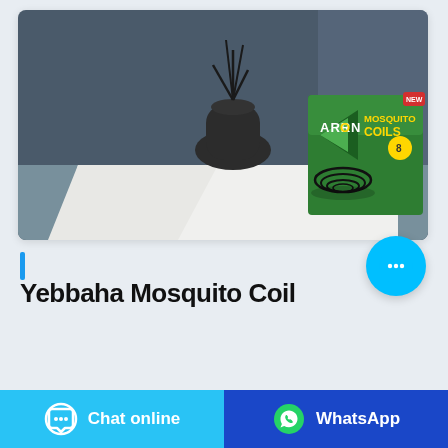[Figure (photo): Product photo of Arrow brand Mosquito Coils box with mosquito coils displayed on a white cloth, dark vase with plant in background, dark blue-gray background.]
Yebbaha Mosquito Coil
[Figure (other): Floating cyan chat bubble button with ellipsis icon]
Chat online
WhatsApp